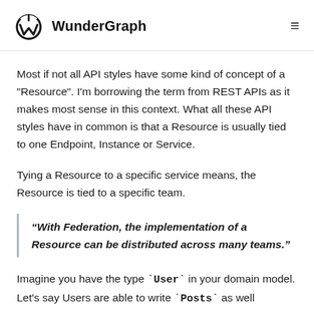WunderGraph
Most if not all API styles have some kind of concept of a "Resource". I'm borrowing the term from REST APIs as it makes most sense in this context. What all these API styles have in common is that a Resource is usually tied to one Endpoint, Instance or Service.
Tying a Resource to a specific service means, the Resource is tied to a specific team.
“With Federation, the implementation of a Resource can be distributed across many teams.”
Imagine you have the type `User` in your domain model. Let’s say Users are able to write `Posts` as well